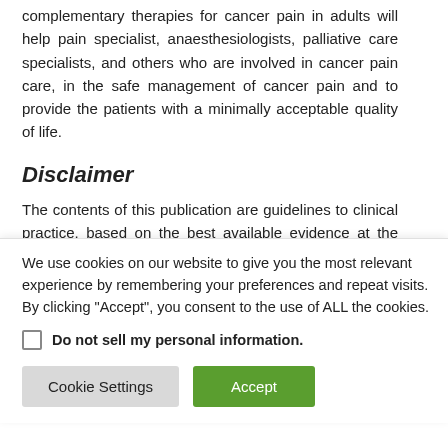complementary therapies for cancer pain in adults will help pain specialist, anaesthesiologists, palliative care specialists, and others who are involved in cancer pain care, in the safe management of cancer pain and to provide the patients with a minimally acceptable quality of life.
Disclaimer
The contents of this publication are guidelines to clinical practice, based on the best available evidence at the time of development. These guidelines should neither be
We use cookies on our website to give you the most relevant experience by remembering your preferences and repeat visits. By clicking "Accept", you consent to the use of ALL the cookies.
Do not sell my personal information.
Cookie Settings   Accept